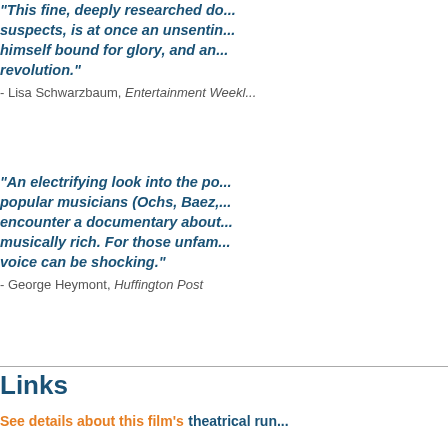"This fine, deeply researched do... suspects, is at once an unsentin... himself bound for glory, and an... revolution."
- Lisa Schwarzbaum, Entertainment Weekl...
"An electrifying look into the po... popular musicians (Ochs, Baez,... encounter a documentary about... musically rich. For those unfam... voice can be shocking."
- George Heymont, Huffington Post
Links
See details about this film's theatrical run...
www.philochsthemovie.com
Phil Ochs Facebook page
Tracing the Arc of a Tragic Folk Singer,...
Phil Ochs: The Life and Legacy of a Leg...